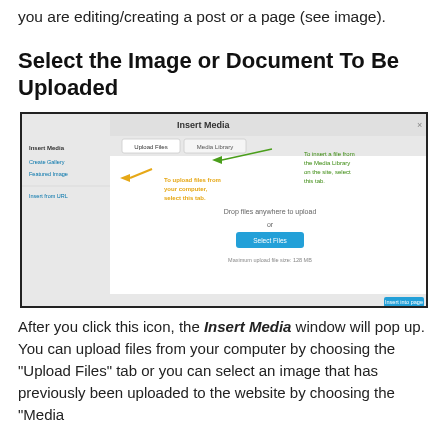you are editing/creating a post or a page (see image).
Select the Image or Document To Be Uploaded
[Figure (screenshot): WordPress Insert Media dialog screenshot showing Upload Files and Media Library tabs, with annotated arrows. Orange arrow points to Upload Files tab with text 'To upload files from your computer, select this tab.' Green arrow points to Media Library tab with text 'To insert a file from the Media Library on the site, select this tab.' The main panel shows 'Drop files anywhere to upload' with a 'Select Files' button.]
After you click this icon, the Insert Media window will pop up. You can upload files from your computer by choosing the "Upload Files" tab or you can select an image that has previously been uploaded to the website by choosing the "Media